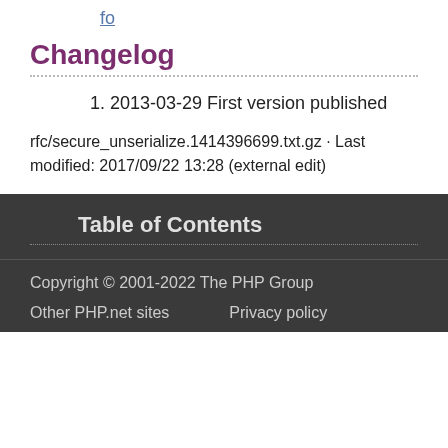fo
Changelog
1. 2013-03-29 First version published
rfc/secure_unserialize.1414396699.txt.gz · Last modified: 2017/09/22 13:28 (external edit)
Table of Contents
Copyright © 2001-2022 The PHP Group
Other PHP.net sites   Privacy policy